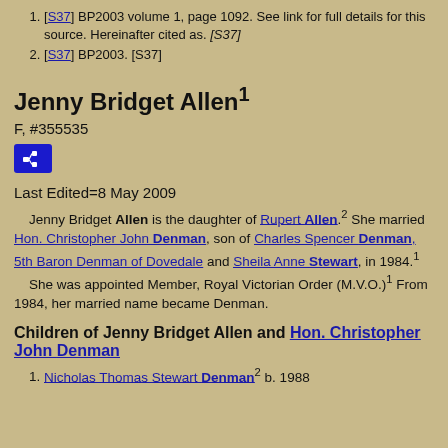[S37] BP2003 volume 1, page 1092. See link for full details for this source. Hereinafter cited as. [S37]
[S37] BP2003. [S37]
Jenny Bridget Allen¹
F, #355535
[Figure (other): Blue icon button with family tree/pedigree chart icon]
Last Edited=8 May 2009
Jenny Bridget Allen is the daughter of Rupert Allen.² She married Hon. Christopher John Denman, son of Charles Spencer Denman, 5th Baron Denman of Dovedale and Sheila Anne Stewart, in 1984.¹ She was appointed Member, Royal Victorian Order (M.V.O.)¹ From 1984, her married name became Denman.
Children of Jenny Bridget Allen and Hon. Christopher John Denman
Nicholas Thomas Stewart Denman² b. 1988